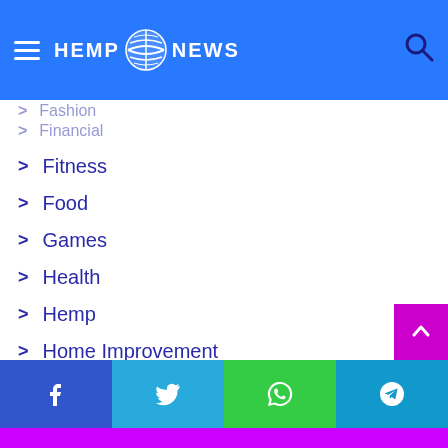Hemp News — navigation menu header
Fashion (partially visible, faded)
Financial (partially visible, faded)
Fitness
Food
Games
Health
Hemp
Home Improvement
Law
Lifestyle
Login
Marijuana
News
Social share buttons: Facebook, Twitter, WhatsApp, Telegram